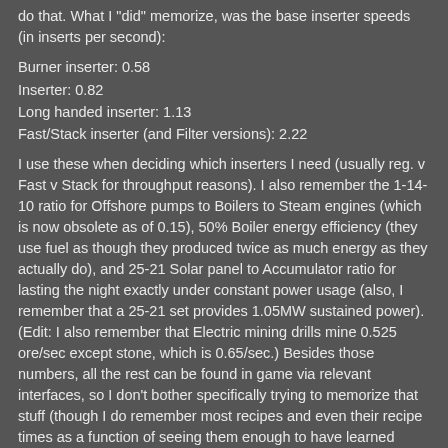do that. What I "did" memorize, was the base inserter speeds (in inserts per second):
Burner inserter: 0.58
Inserter: 0.82
Long handed inserter: 1.13
Fast/Stack inserter (and Filter versions): 2.22
I use these when deciding which inserters I need (usually reg. v Fast v Stack for throughput reasons). I also remember the 1-14-10 ratio for Offshore pumps to Boilers to Steam engines (which is now obsolete as of 0.15), 50% Boiler energy efficiency (they use fuel as though they produced twice as much energy as they actually do), and 25-21 Solar panel to Accumulator ratio for lasting the night exactly under constant power usage (also, I remember that a 25-21 set provides 1.05MW sustained power). (Edit: I also remember that Electric mining drills mine 0.525 ore/sec except stone, which is 0.65/sec.) Besides those numbers, all the rest can be found in game via relevant interfaces, so I don't bother specifically trying to memorize that stuff (though I do remember most recipes and even their recipe times as a function of seeing them enough to have learned them; I